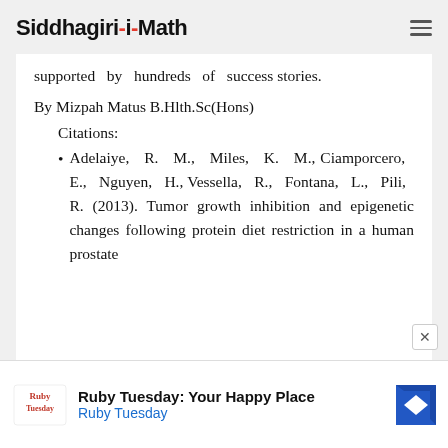Siddhagiri-Math
supported by hundreds of success stories.
By Mizpah Matus B.Hlth.Sc(Hons)
Citations:
Adelaiye, R. M., Miles, K. M., Ciamporcero, E., Nguyen, H., Vessella, R., Fontana, L., Pili, R. (2013). Tumor growth inhibition and epigenetic changes following protein diet restriction in a human prostate
[Figure (other): Ruby Tuesday advertisement banner with logo, heading 'Ruby Tuesday: Your Happy Place', and navigation arrow icon]